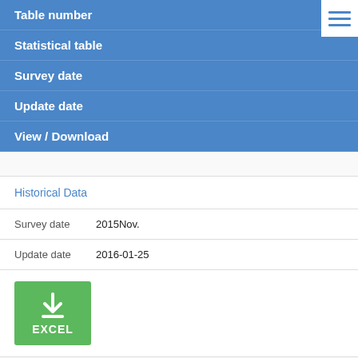Table number
Statistical table
Survey date
Update date
View / Download
Historical Data
Survey date   2015Nov.
Update date  2016-01-25
[Figure (other): Green Excel download button with download arrow icon and EXCEL label]
Leading Index